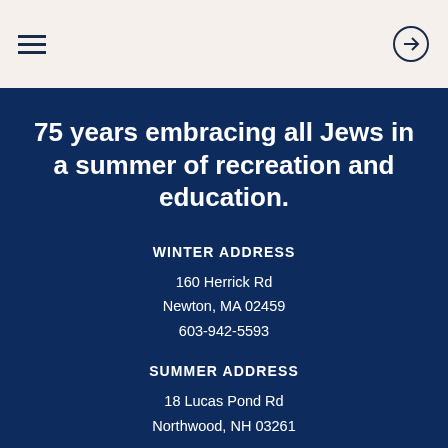Navigation header with hamburger menu and arrow circle button
75 years embracing all Jews in a summer of recreation and education.
WINTER ADDRESS
160 Herrick Rd
Newton, MA 02459
603-942-5593
SUMMER ADDRESS
18 Lucas Pond Rd
Northwood, NH 03261